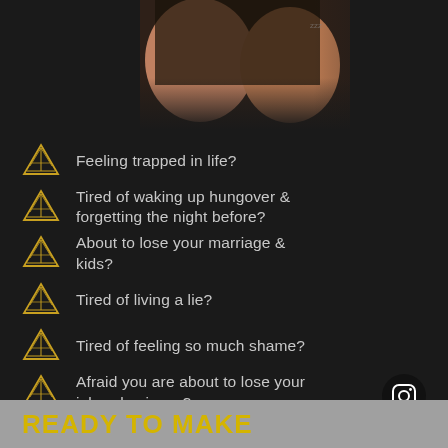[Figure (photo): Cropped photo of a tattooed man with arms crossed, visible from chest down, wearing dark clothing, dark background]
Feeling trapped in life?
Tired of waking up hungover & forgetting the night before?
About to lose your marriage & kids?
Tired of living a lie?
Tired of feeling so much shame?
Afraid you are about to lose your job or business?
READY TO MAKE